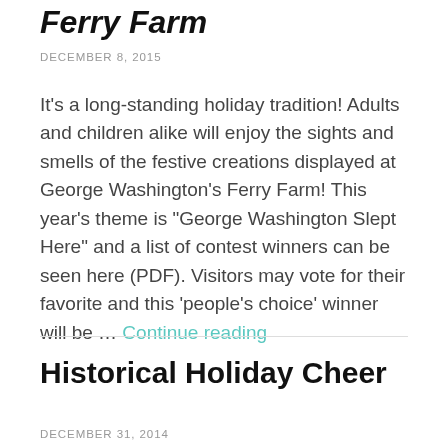Ferry Farm
DECEMBER 8, 2015
It's a long-standing holiday tradition! Adults and children alike will enjoy the sights and smells of the festive creations displayed at George Washington's Ferry Farm! This year's theme is "George Washington Slept Here" and a list of contest winners can be seen here (PDF). Visitors may vote for their favorite and this 'people's choice' winner will be … Continue reading
Historical Holiday Cheer
DECEMBER 31, 2014